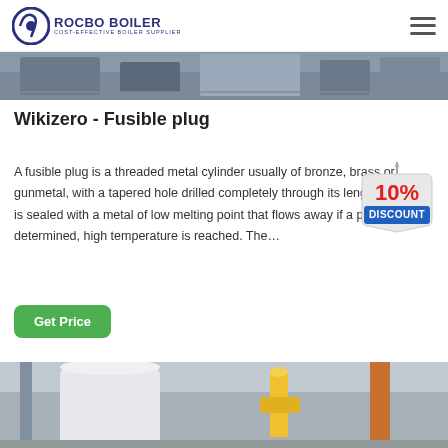ROCBO BOILER - COST-EFFECTIVE BOILER SUPPLIER
[Figure (photo): Top partial image of industrial boiler equipment / factory interior]
Wikizero - Fusible plug
A fusible plug is a threaded metal cylinder usually of bronze, brass or gunmetal, with a tapered hole drilled completely through its length.This hole is sealed with a metal of low melting point that flows away if a pre-determined, high temperature is reached. The...
[Figure (infographic): 10% DISCOUNT badge/sticker overlay]
Get Price
[Figure (photo): Bottom partial image of industrial boiler with yellow pipe fittings in factory]